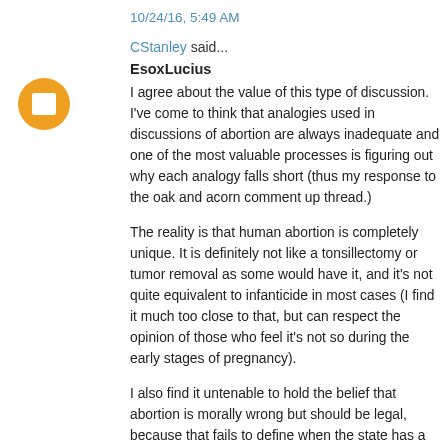10/24/16, 5:49 AM
CStanley said...
EsoxLucius
I agree about the value of this type of discussion. I've come to think that analogies used in discussions of abortion are always inadequate and one of the most valuable processes is figuring out why each analogy falls short (thus my response to the oak and acorn comment up thread.)
The reality is that human abortion is completely unique. It is definitely not like a tonsillectomy or tumor removal as some would have it, and it's not quite equivalent to infanticide in most cases (I find it much too close to that, but can respect the opinion of those who feel it's not so during the early stages of pregnancy).
I also find it untenable to hold the belief that abortion is morally wrong but should be legal, because that fails to define when the state has a responsibility to protect life. If we as a society were to choose to define that protection only after birth (which seems to be Althouse's position) then unborn babies really are being treated as the property of the mothers.